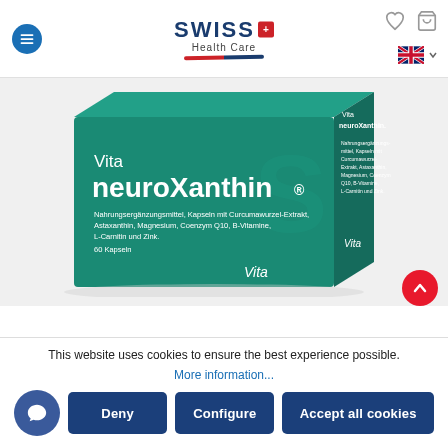[Figure (logo): Swiss Health Care logo with blue SWISS text, red cross icon, and curved red/blue underline]
[Figure (photo): Vita neuroXanthin product box — teal/green packaging with white text. Front text: 'Vita neuroXanthin® Nahrungsergänzungsmittel, Kapseln mit Curcumawurzel-Extrakt, Astaxanthin, Magnesium, Coenzym Q10, B-Vitamine, L-Carnitin und Zink. 60 Kapseln'. Side label: 'Vita neuroXanthin'.]
This website uses cookies to ensure the best experience possible.
More information...
Deny
Configure
Accept all cookies